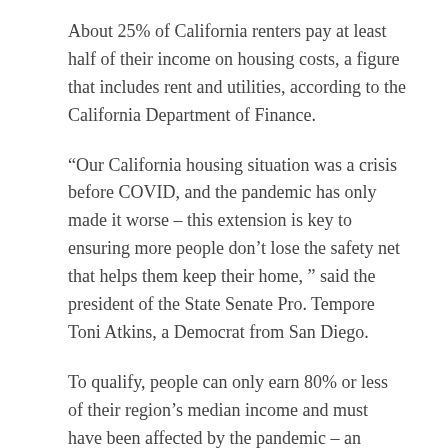About 25% of California renters pay at least half of their income on housing costs, a figure that includes rent and utilities, according to the California Department of Finance.
“Our California housing situation was a crisis before COVID, and the pandemic has only made it worse – this extension is key to ensuring more people don’t lose the safety net that helps them keep their home, ” said the president of the State Senate Pro. Tempore Toni Atkins, a Democrat from San Diego.
To qualify, people can only earn 80% or less of their region’s median income and must have been affected by the pandemic – an indescribable requirement anyone can meet.
The federal government is giving each state a lot of money to cover rent during the pandemic. Some states, like Washington, have also extended their deportation bans.